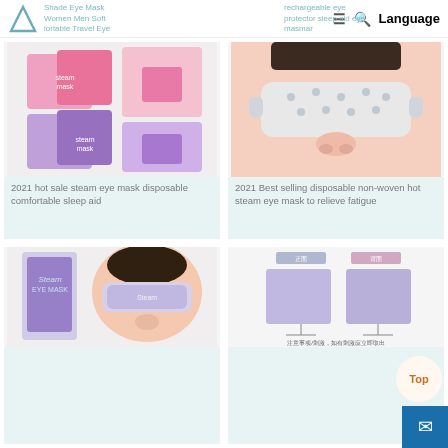Shade Eye Mask Women Men Soft lortable Travel Eye | rechargeable eye protector sleep aid eye masmar | Language
[Figure (photo): Two pink and two purple steam eye mask product boxes]
2021 hot sale steam eye mask disposable comfortable sleep aid
[Figure (photo): Woman wearing a white dotted steam eye mask]
2021 Best selling disposable non-woven hot steam eye mask to relieve fatigue
[Figure (photo): Steam Eye Mask purple box with woman wearing eye mask]
[Figure (photo): Diagram of eye mask product showing dimensions and components with Chinese text]